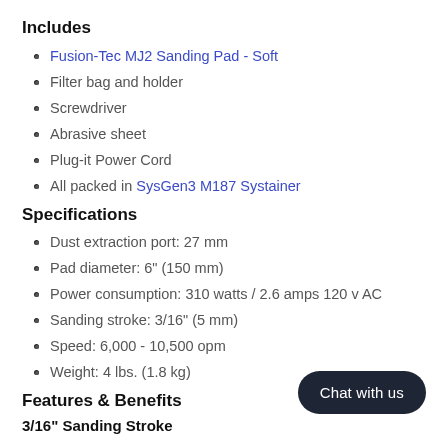Includes
Fusion-Tec MJ2 Sanding Pad - Soft
Filter bag and holder
Screwdriver
Abrasive sheet
Plug-it Power Cord
All packed in SysGen3 M187 Systainer
Specifications
Dust extraction port: 27 mm
Pad diameter: 6" (150 mm)
Power consumption: 310 watts / 2.6 amps 120 v AC
Sanding stroke: 3/16" (5 mm)
Speed: 6,000 - 10,500 opm
Weight: 4 lbs. (1.8 kg)
Features & Benefits
3/16" Sanding Stroke